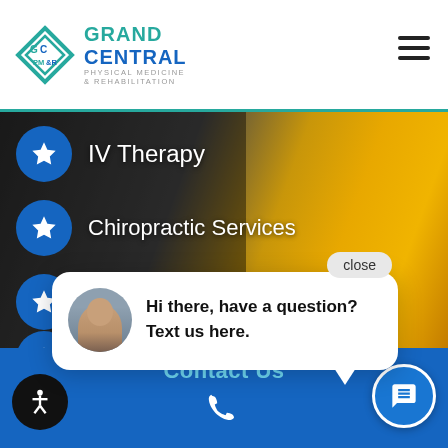[Figure (logo): Grand Central Physical Medicine & Rehabilitation logo with teal diamond shape and text]
[Figure (screenshot): Website screenshot showing menu with IV Therapy, Chiropractic Services, and other items over a dark street/car background with a yellow car visible]
IV Therapy
Chiropractic Services
Sports Medicine (partially visible)
A... (partially visible)
Hi there, have a question? Text us here.
Contact Us